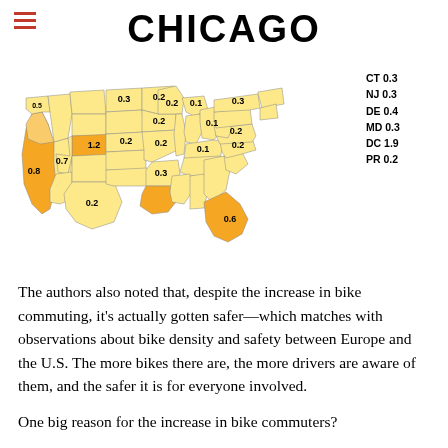CHICAGO
[Figure (map): Choropleth map of the United States showing bike commuting percentages by state. Values range from 0.1 to 1.9. States in darker orange have higher values. Legend shows CT 0.3, NJ 0.3, DE 0.4, MD 0.3, DC 1.9, PR 0.2. Selected state values visible: 0.8 (CA), 0.7 (NV/AZ), 1.2 (CO), 0.3, 0.2, 0.2, 0.1, 0.2, 0.3, 0.2, 0.1, 0.2, 0.3, 0.2, 0.3, 0.6 (FL).]
The authors also noted that, despite the increase in bike commuting, it's actually gotten safer—which matches with observations about bike density and safety between Europe and the U.S. The more bikes there are, the more drivers are aware of them, and the safer it is for everyone involved.
One big reason for the increase in bike commuters?